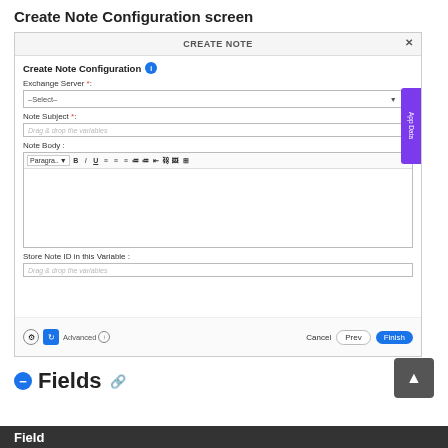Create Note Configuration screen
[Figure (screenshot): Screenshot of the Create Note Configuration modal dialog with fields for Exchange Server, Note Subject, Note Body (with rich text editor toolbar), and Store Note ID in this Variable. Has App Data side tab in purple, and Cancel/Prev/Finish buttons at the bottom.]
Fields
| Field |
| --- |